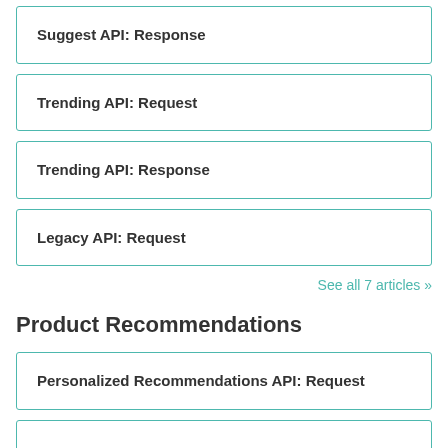Suggest API: Response
Trending API: Request
Trending API: Response
Legacy API: Request
See all 7 articles »
Product Recommendations
Personalized Recommendations API: Request